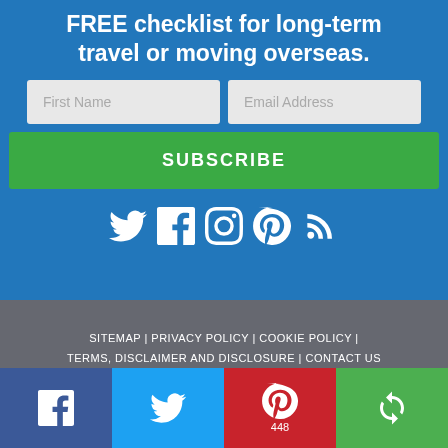FREE checklist for long-term travel or moving overseas.
First Name
Email Address
SUBSCRIBE
[Figure (infographic): Social media icons: Twitter, Facebook, Instagram, Pinterest, RSS feed — all white on blue background]
SITEMAP | PRIVACY POLICY | COOKIE POLICY | TERMS, DISCLAIMER AND DISCLOSURE | CONTACT US
Copyright © 2022 Can Travel Will Travel
[Figure (infographic): Bottom share bar with four buttons: Facebook (blue), Twitter (light blue), Pinterest (red) with count 448, and More (green)]